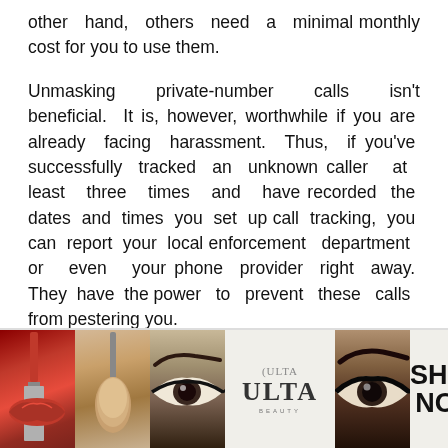other hand, others need a minimal monthly cost for you to use them.
Unmasking private-number calls isn't beneficial. It is, however, worthwhile if you are already facing harassment. Thus, if you've successfully tracked an unknown caller at least three times and have recorded the dates and times you set up call tracking, you can report your local enforcement department or even your phone provider right away. They have the power to prevent these calls from pestering you.
[Figure (photo): Advertisement banner for Ulta Beauty showing cosmetic images (lips with lipstick, makeup brush, eye with eyeliner, Ulta Beauty logo, smoky eye) with 'SHOP NOW' call to action on the right.]